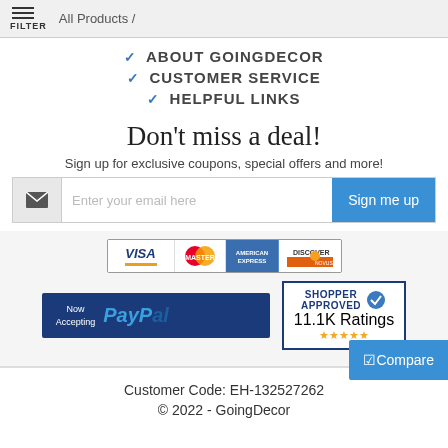≡ FILTER  All Products /
▾ ABOUT GOINGDECOR
▾ CUSTOMER SERVICE
▾ HELPFUL LINKS
Don't miss a deal!
Sign up for exclusive coupons, special offers and more!
[Figure (infographic): Email signup form with envelope icon, email input field and Sign me up button]
[Figure (infographic): Payment method logos: Visa, MasterCard, American Express, Discover, PayPal, and Shopper Approved badge with 11.1K Ratings and 5 stars]
☑Compare
Customer Code: EH-132527262
© 2022 - GoingDecor